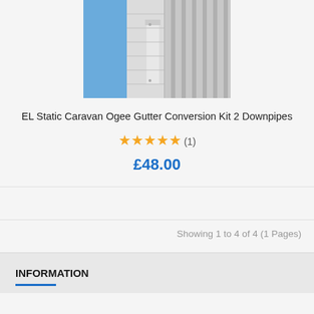[Figure (photo): Photo of a static caravan ogee gutter conversion kit installed on a building, showing white corrugated metal siding and blue sky in background]
EL Static Caravan Ogee Gutter Conversion Kit 2 Downpipes
★★★★★ (1)
£48.00
Showing 1 to 4 of 4 (1 Pages)
INFORMATION